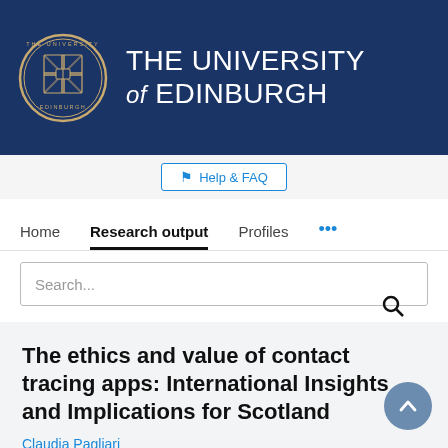[Figure (logo): University of Edinburgh logo with crest and text 'THE UNIVERSITY of EDINBURGH' on dark blue banner background]
Help & FAQ
Home  Research output  Profiles  ...
Search...
The ethics and value of contact tracing apps: International Insights and Implications for Scotland
Claudia Pagliari